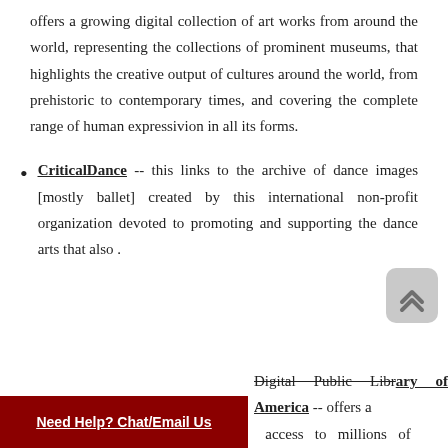offers a growing digital collection of art works from around the world, representing the collections of prominent museums, that highlights the creative output of cultures around the world, from prehistoric to contemporary times, and covering the complete range of human expressivion in all its forms.
CriticalDance -- this links to the archive of dance images [mostly ballet] created by this international non-profit organization devoted to promoting and supporting the dance arts that also.
Digital Public Library of America -- offers a ... access to millions of
Need Help? Chat/Email Us